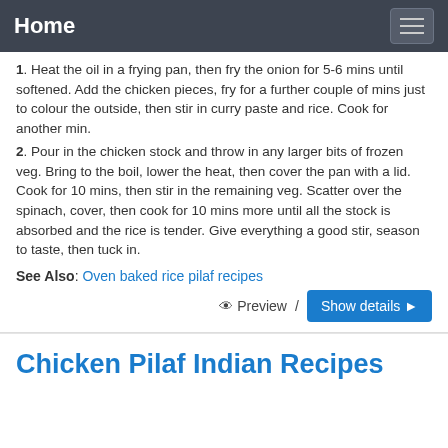Home
1. Heat the oil in a frying pan, then fry the onion for 5-6 mins until softened. Add the chicken pieces, fry for a further couple of mins just to colour the outside, then stir in curry paste and rice. Cook for another min.
2. Pour in the chicken stock and throw in any larger bits of frozen veg. Bring to the boil, lower the heat, then cover the pan with a lid. Cook for 10 mins, then stir in the remaining veg. Scatter over the spinach, cover, then cook for 10 mins more until all the stock is absorbed and the rice is tender. Give everything a good stir, season to taste, then tuck in.
See Also: Oven baked rice pilaf recipes
Preview / Show details
Chicken Pilaf Indian Recipes